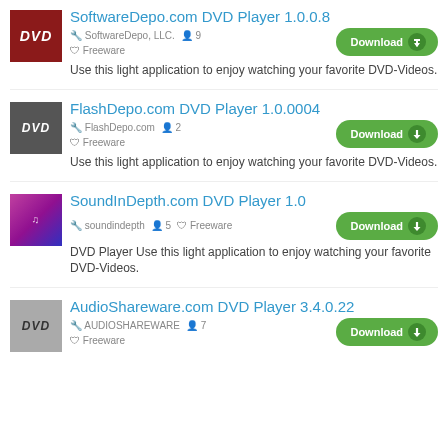SoftwareDepo.com DVD Player 1.0.0.8 — SoftwareDepo, LLC. · 9 users · Freeware — Download — Use this light application to enjoy watching your favorite DVD-Videos.
FlashDepo.com DVD Player 1.0.0004 — FlashDepo.com · 2 users · Freeware — Download — Use this light application to enjoy watching your favorite DVD-Videos.
SoundInDepth.com DVD Player 1.0 — soundindepth · 5 users · Freeware — Download — DVD Player Use this light application to enjoy watching your favorite DVD-Videos.
AudioShareware.com DVD Player 3.4.0.22 — AUDIOSHAREWARE · 7 users · Freeware — Download